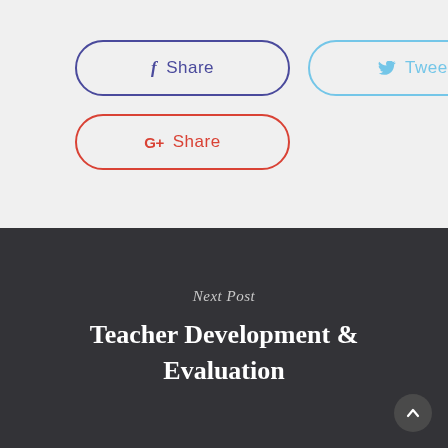[Figure (other): Social share buttons: Facebook Share (purple border), Tweet (blue border), Google+ Share (red border)]
Next Post
Teacher Development & Evaluation